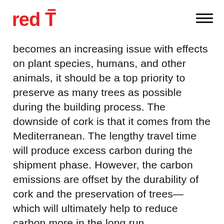redT [logo with hamburger menu]
becomes an increasing issue with effects on plant species, humans, and other animals, it should be a top priority to preserve as many trees as possible during the building process. The downside of cork is that it comes from the Mediterranean. The lengthy travel time will produce excess carbon during the shipment phase. However, the carbon emissions are offset by the durability of cork and the preservation of trees— which will ultimately help to reduce carbon more in the long run.